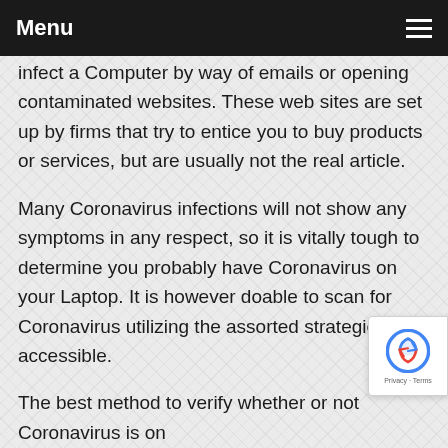Menu
infect a Computer by way of emails or opening contaminated websites. These web sites are set up by firms that try to entice you to buy products or services, but are usually not the real article.
Many Coronavirus infections will not show any symptoms in any respect, so it is vitally tough to determine you probably have Coronavirus on your Laptop. It is however doable to scan for Coronavirus utilizing the assorted strategies accessible.
The best method to verify whether or not Coronavirus is on